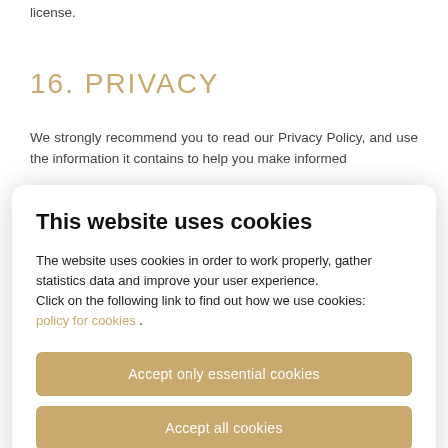license.
16. PRIVACY
We strongly recommend you to read our Privacy Policy, and use the information it contains to help you make informed
[Figure (other): Cookie consent modal dialog with title 'This website uses cookies', body text about cookies usage, a link 'policy for cookies', and two buttons: 'Accept only essential cookies' and 'Accept all cookies']